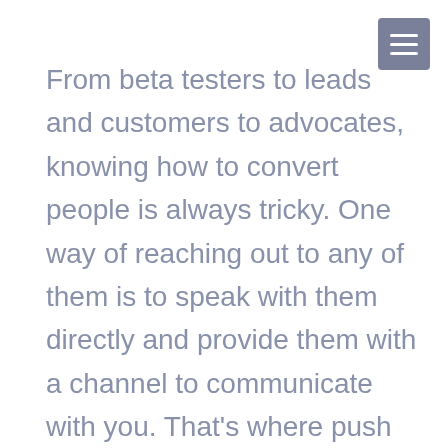[Figure (other): Hamburger menu icon button with three horizontal white lines on a grey/slate background square]
From beta testers to leads and customers to advocates, knowing how to convert people is always tricky. One way of reaching out to any of them is to speak with them directly and provide them with a channel to communicate with you. That's where push notifications come in, allowing you to send targeted messages that could include app updates, news, and relevant content for your intended audience.
In this blog post, we compiled all the cool push notifications tools out there to make it easier for you to choose the tool that benefits your app, the